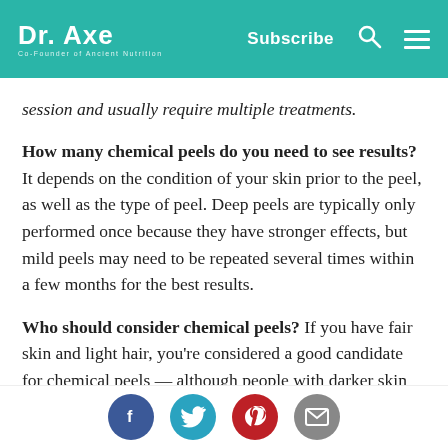Dr. Axe | Co-Founder of Ancient Nutrition | Subscribe
session and usually require multiple treatments.
How many chemical peels do you need to see results? It depends on the condition of your skin prior to the peel, as well as the type of peel. Deep peels are typically only performed once because they have stronger effects, but mild peels may need to be repeated several times within a few months for the best results.
Who should consider chemical peels? If you have fair skin and light hair, you're considered a good candidate for chemical peels — although people with darker skin tones can still see good
[Figure (infographic): Social sharing icons: Facebook (blue circle), Twitter (teal circle), Pinterest (red circle), Email (grey circle)]